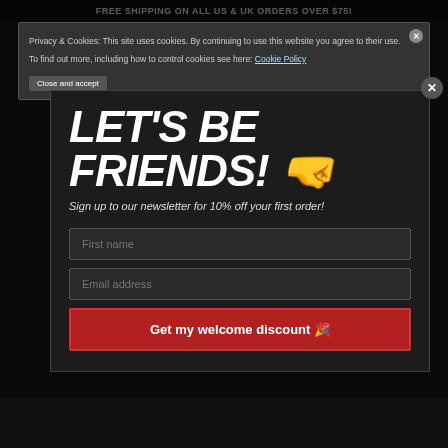FREE SHIPPING ON ALL US & UK ORDERS OVER $75!
Privacy & Cookies: This site uses cookies. By continuing to use this website you agree to their use. To find out more, including how to control cookies see here: Cookie Policy
LET'S BE FRIENDS! 🤝
Sign up to our newsletter for 10% off your first order!
First name
Email address
Get my welcome discount 🎉
✦ ARTIST PROFILE